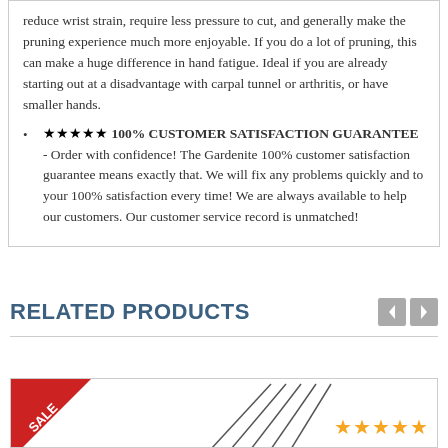reduce wrist strain, require less pressure to cut, and generally make the pruning experience much more enjoyable. If you do a lot of pruning, this can make a huge difference in hand fatigue. Ideal if you are already starting out at a disadvantage with carpal tunnel or arthritis, or have smaller hands.
★★★★★ 100% CUSTOMER SATISFACTION GUARANTEE - Order with confidence! The Gardenite 100% customer satisfaction guarantee means exactly that. We will fix any problems quickly and to your 100% satisfaction every time! We are always available to help our customers. Our customer service record is unmatched!
RELATED PRODUCTS
[Figure (photo): Product card with SALE badge in top-left corner, product image of pruning tools/needles in center, and five gold stars in bottom-right corner]